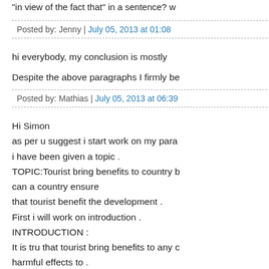"in view of the fact that" in a sentence? w
Posted by: Jenny | July 05, 2013 at 01:08
hi everybody, my conclusion is mostly
Despite the above paragraphs I firmly be
Posted by: Mathias | July 05, 2013 at 06:39
Hi Simon
as per u suggest i start work on my para
i have been given a topic .
TOPIC:Tourist bring benefits to country b
can a country ensure
that tourist benefit the development .
First i will work on introduction .
INTRODUCTION :
It is tru that tourist bring benefits to any c
harmful effects to .
Good governance of country helps to bri
.Tourist can help both economically
and socially .